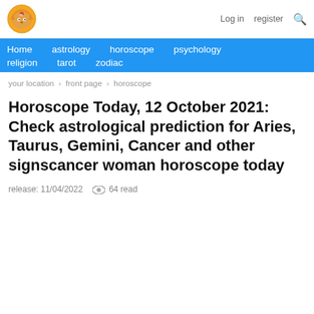Log in  register
Home  astrology  horoscope  psychology  religion  tarot  zodiac
your location > front page > horoscope
Horoscope Today, 12 October 2021: Check astrological prediction for Aries, Taurus, Gemini, Cancer and other signscancer woman horoscope today
release: 11/04/2022  64 read